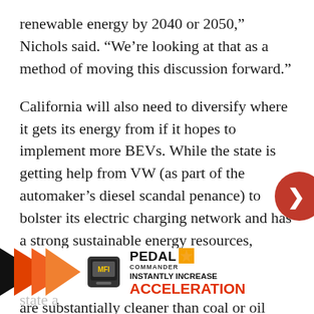renewable energy by 2040 or 2050," Nichols said. "We're looking at that as a method of moving this discussion forward."
California will also need to diversify where it gets its energy from if it hopes to implement more BEVs. While the state is getting help from VW (as part of the automaker's diesel scandal penance) to bolster its electric charging network and has a strong sustainable energy resources, roughly half of its power comes from natural gas-fired power plants. Those plants are substantially cleaner than coal or oil plants,
[Figure (other): Advertisement banner for Pedal Commander showing orange arrow graphics, a device image, brand logo with star, and text 'INSTANTLY INCREASE ACCELERATION']
but w... f the state a...